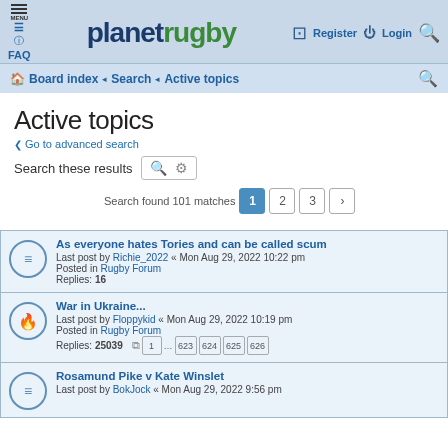planet rugby — Board index · Search · Active topics
Board index · Search · Active topics
Active topics
Go to advanced search
Search these results
Search found 101 matches  1  2  3  >
As everyone hates Tories and can be called scum
Last post by Richie_2022 « Mon Aug 29, 2022 10:22 pm
Posted in Rugby Forum
Replies: 16
War in Ukraine...
Last post by Floppykid « Mon Aug 29, 2022 10:19 pm
Posted in Rugby Forum
Replies: 25039   1 … 623 624 625 626
Rosamund Pike v Kate Winslet
Last post by BokJock « Mon Aug 29, 2022 9:56 pm